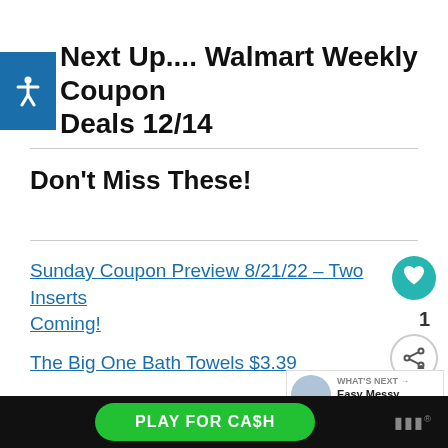Next Up.... Walmart Weekly Coupon Deals 12/14
Don't Miss These!
Sunday Coupon Preview 8/21/22 – Two Inserts Coming!
The Big One Bath Towels $3.39
BOGO Free A&W Shake for Mug Club Members
WHAT'S NEXT → Easy Messy Bun for Lon...
PLAY FOR CA$H